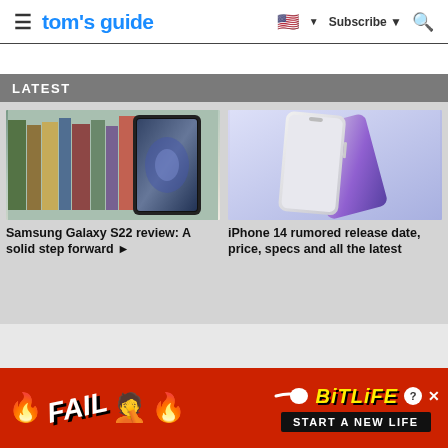tom's guide | Subscribe | Search
LATEST
[Figure (photo): Samsung Galaxy S22 smartphone propped against a row of books]
Samsung Galaxy S22 review: A solid step forward ▶
[Figure (photo): iPhone 14 render showing two phones with purple gradient background]
iPhone 14 rumored release date, price, specs and all the latest
[Figure (other): BitLife advertisement banner - FAIL emoji, fire graphics, START A NEW LIFE button]